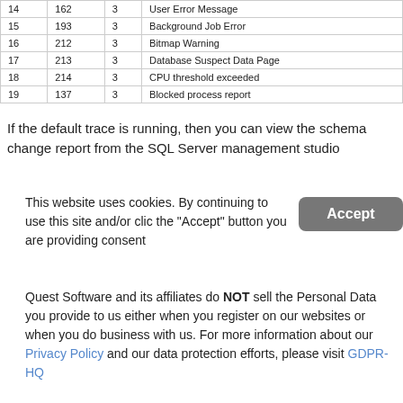| 14 | 162 | 3 | User Error Message |
| 15 | 193 | 3 | Background Job Error |
| 16 | 212 | 3 | Bitmap Warning |
| 17 | 213 | 3 | Database Suspect Data Page |
| 18 | 214 | 3 | CPU threshold exceeded |
| 19 | 137 | 3 | Blocked process report |
If the default trace is running, then you can view the schema change report from the SQL Server management studio
This website uses cookies. By continuing to use this site and/or cli... the "Accept" button you are providing consent
Quest Software and its affiliates do NOT sell the Personal Data you provide to us either when you register on our websites or when you do business with us. For more information about our Privacy Policy and our data protection efforts, please visit GDPR-HQ